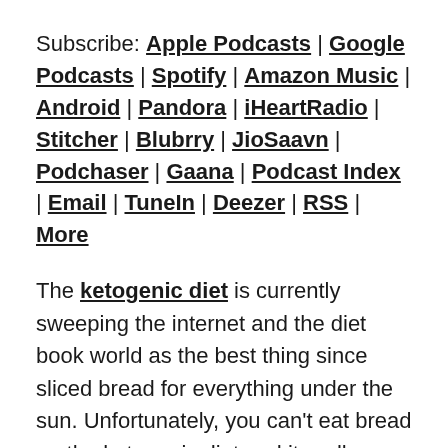Subscribe: Apple Podcasts | Google Podcasts | Spotify | Amazon Music | Android | Pandora | iHeartRadio | Stitcher | Blubrry | JioSaavn | Podchaser | Gaana | Podcast Index | Email | TuneIn | Deezer | RSS | More
The ketogenic diet is currently sweeping the internet and the diet book world as the best thing since sliced bread for everything under the sun. Unfortunately, you can't eat bread on the ketogenic diet and it really can be difficult to follow for some people.
Since I work with many patients who have Hashimoto's disease and hypothyroidism, I wanted to investigate whether the ketogenic